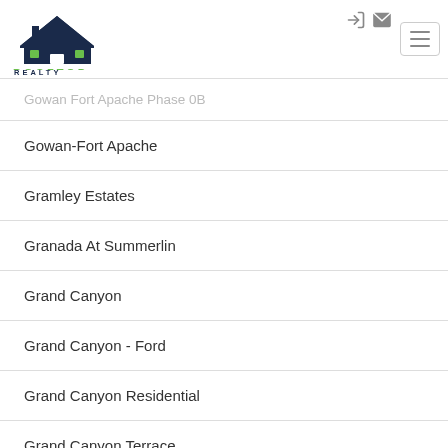Rooftop Realty
Gowan Fort Apache Phase 0B
Gowan-Fort Apache
Gramley Estates
Granada At Summerlin
Grand Canyon
Grand Canyon - Ford
Grand Canyon Residential
Grand Canyon Terrace